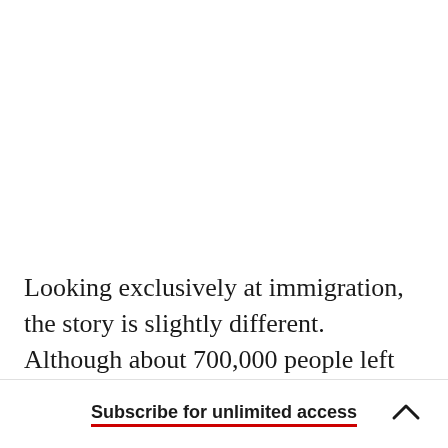Looking exclusively at immigration, the story is slightly different. Although about 700,000 people left New York City in the last five years, they were more than replaced by 770,000 immigrants. Los Angeles, too, bled domestic movers, but still grew
Subscribe for unlimited access